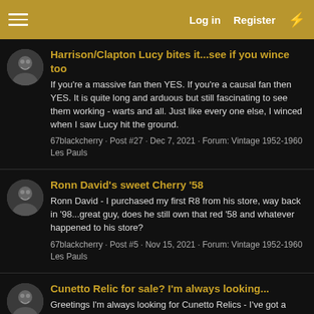Log in  Register
Harrison/Clapton Lucy bites it...see if you wince too
If you're a massive fan then YES. If you're a causal fan then YES. It is quite long and arduous but still fascinating to see them working - warts and all. Just like every one else, I winced when I saw Lucy hit the ground.
67blackcherry · Post #27 · Dec 7, 2021 · Forum: Vintage 1952-1960 Les Pauls
Ronn David's sweet Cherry '58
Ronn David - I purchased my first R8 from his store, way back in '98...great guy, does he still own that red '58 and whatever happened to his store?
67blackcherry · Post #5 · Nov 15, 2021 · Forum: Vintage 1952-1960 Les Pauls
Cunetto Relic for sale? I'm always looking...
Greetings I'm always looking for Cunetto Relics - I've got a rather extensive collection, currently at 11, but... if it's the right guitar I'll buy it - please reach out to me - thanks!